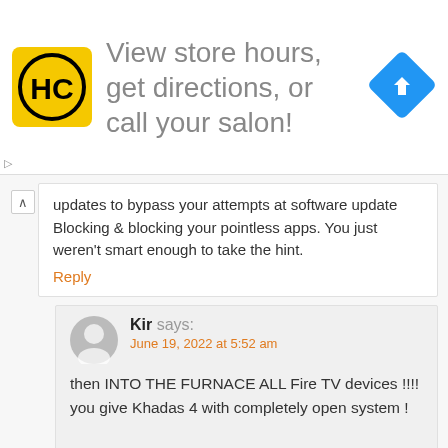[Figure (infographic): Advertisement banner with HC logo (yellow square with black HC text in circle), text 'View store hours, get directions, or call your salon!', and a blue diamond direction arrow icon on the right]
updates to bypass your attempts at software update Blocking & blocking your pointless apps. You just weren't smart enough to take the hint.
Reply
Kir says:
June 19, 2022 at 5:52 am
then INTO THE FURNACE ALL Fire TV devices !!!!
you give Khadas 4 with completely open system !
.